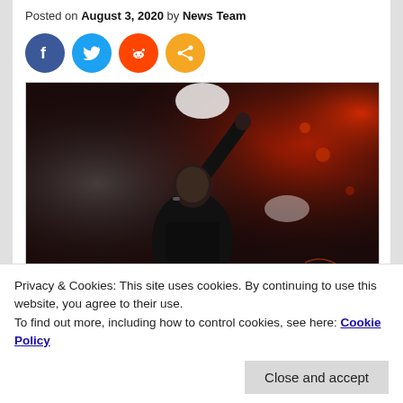Posted on August 3, 2020 by News Team
[Figure (other): Social media sharing icons: Facebook (blue), Twitter (light blue), Reddit (orange-red), Share (orange)]
[Figure (photo): Concert photo of a male singer in black clothing performing on stage with one arm raised pointing upward, dramatic red and white stage lighting with smoke/haze in background]
Privacy & Cookies: This site uses cookies. By continuing to use this website, you agree to their use.
To find out more, including how to control cookies, see here: Cookie Policy
Roles, Jamie Lehman, Myles Kennedy & Company,